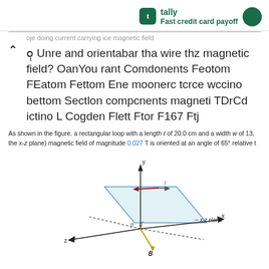tally Fast credit card payoff
oje doing current carrying ice magnetic field Unre and orientabar tha wire thz magnetic field? OanYou rant Comdonents Feotom FEatom Fettom Ene moonerc tcrce wccino bettom Sectlon compcnents magneti TDrCd ictino L Cogden Flett Ftor F167 Ftj
As shown in the figure. a rectangular loop with a length ℓ of 20.0 cm and a width w of 13. the x-z plane) magnetic field of magnitude 0.027 T is oriented at an angle of 65° relative t
[Figure (engineering-diagram): 3D coordinate system diagram showing a rectangular loop in the x-z plane with a magnetic field vector B oriented at angle β, with y-axis pointing up, x-axis pointing right, z-axis pointing left, and current direction l shown with arrow.]